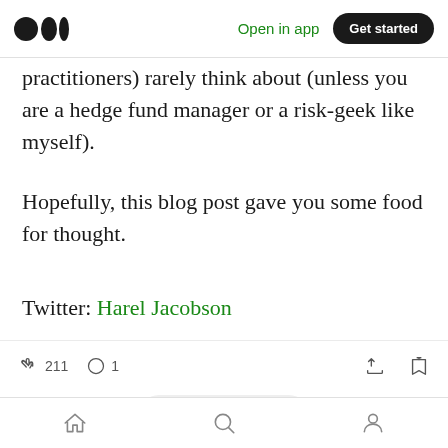Open in app | Get started
practitioners) rarely think about (unless you are a hedge fund manager or a risk-geek like myself).
Hopefully, this blog post gave you some food for thought.
Twitter: Harel Jacobson
211 claps | 1 comment | share | save | Home | Search | Profile